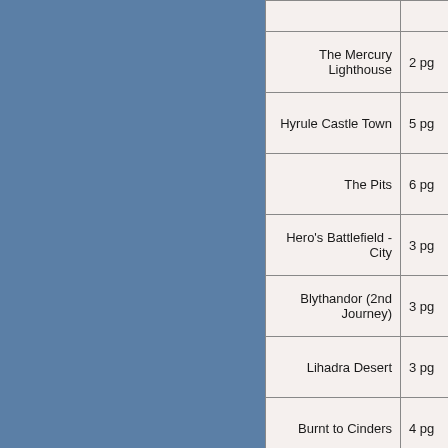| Location | Pages |
| --- | --- |
| The Mercury Lighthouse | 2 pg |
| Hyrule Castle Town | 5 pg |
| The Pits | 6 pg |
| Hero's Battlefield - City | 3 pg |
| Blythandor (2nd Journey) | 3 pg |
| Lihadra Desert | 3 pg |
| Burnt to Cinders | 4 pg |
| The Search for Dragon Academy | 3 pg |
| SOLDIER - Northern Crater | 2 pg |
| Crossroads | 6 pg |
| Hyrule | 9 pg |